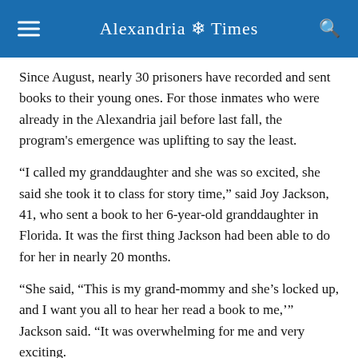Alexandria Times
Since August, nearly 30 prisoners have recorded and sent books to their young ones. For those inmates who were already in the Alexandria jail before last fall, the program's emergence was uplifting to say the least.
“I called my granddaughter and she was so excited, she said she took it to class for story time,” said Joy Jackson, 41, who sent a book to her 6-year-old granddaughter in Florida. It was the first thing Jackson had been able to do for her in nearly 20 months.
“She said, “This is my grand-mommy and she’s locked up, and I want you all to hear her read a book to me,’” Jackson said. “It was overwhelming for me and very exciting.
“I had a great relationship with her. We’re very, very close, we